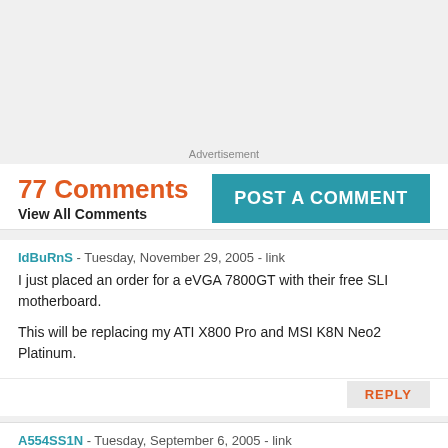Advertisement
77 Comments
View All Comments
[Figure (other): POST A COMMENT button (teal background, white text)]
IdBuRnS - Tuesday, November 29, 2005 - link
I just placed an order for a eVGA 7800GT with their free SLI motherboard.

This will be replacing my ATI X800 Pro and MSI K8N Neo2 Platinum.
REPLY
A554SS1N - Tuesday, September 6, 2005 - link
Ok, now for my views on the 7600GT...

The 6600GT had exactly half the pixel-pipelines and memory bus of the 6800GT/Ultra, and this makes me think the 7600GT will be